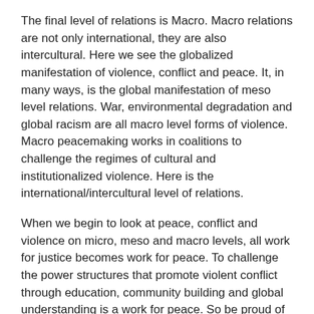The final level of relations is Macro. Macro relations are not only international, they are also intercultural. Here we see the globalized manifestation of violence, conflict and peace. It, in many ways, is the global manifestation of meso level relations. War, environmental degradation and global racism are all macro level forms of violence. Macro peacemaking works in coalitions to challenge the regimes of cultural and institutionalized violence. Here is the international/intercultural level of relations.
When we begin to look at peace, conflict and violence on micro, meso and macro levels, all work for justice becomes work for peace. To challenge the power structures that promote violent conflict through education, community building and global understanding is a work for peace. So be proud of the work you and your congregations are doing. It is up to you to find the spaces that need to be mended. It is impossible to be working on all levels at the same time, but on all levels we must work. While one group is working on ending the war in Iraq, another is working on feeding the homeless and the hungry. While one group is tutoring children at a struggling school in a rough neighborhood, another is fighting oppression in their homes.